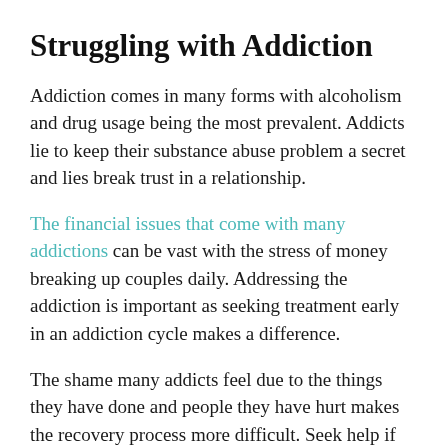Struggling with Addiction
Addiction comes in many forms with alcoholism and drug usage being the most prevalent. Addicts lie to keep their substance abuse problem a secret and lies break trust in a relationship.
The financial issues that come with many addictions can be vast with the stress of money breaking up couples daily. Addressing the addiction is important as seeking treatment early in an addiction cycle makes a difference.
The shame many addicts feel due to the things they have done and people they have hurt makes the recovery process more difficult. Seek help if you are